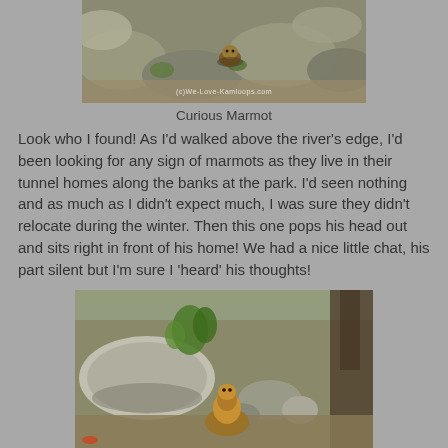[Figure (photo): A marmot peering out from between large rocks along a riverbank. Watermark reads '(c)We-Love-Kamloops.com']
Curious Marmot
Look who I found!  As I'd walked above the river's edge, I'd been looking for any sign of marmots as they live in their tunnel homes along the banks at the park.  I'd seen nothing and as much as I didn't expect much, I was sure they didn't relocate during the winter.  Then this one pops his head out and sits right in front of his home!  We had a nice little chat, his part silent but I'm sure I 'heard' his thoughts!
[Figure (photo): A marmot sitting among rocks and vegetation near its burrow entrance, with a tree visible on the right side.]